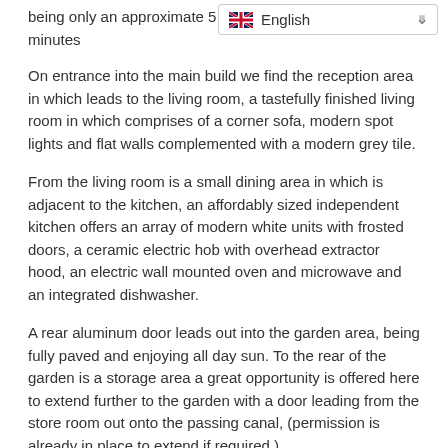being only an approximate 5 minutes
[Figure (other): Language selector dropdown showing UK flag and 'English' text with chevron]
On entrance into the main build we find the reception area in which leads to the living room, a tastefully finished living room in which comprises of a corner sofa, modern spot lights and flat walls complemented with a modern grey tile.
From the living room is a small dining area in which is adjacent to the kitchen, an affordably sized independent kitchen offers an array of modern white units with frosted doors, a ceramic electric hob with overhead extractor hood, an electric wall mounted oven and microwave and an integrated dishwasher.
A rear aluminum door leads out into the garden area, being fully paved and enjoying all day sun. To the rear of the garden is a storage area a great opportunity is offered here to extend further to the garden with a door leading from the store room out onto the passing canal, (permission is already in place to extend if required.)
Also located to the garden is a large utility room to where the properties washing machine and gas boiler are housed.
The property offers 2 double bedrooms and a modern shower room offering a wall to wall shower and screen, WC and a hand basin set in a